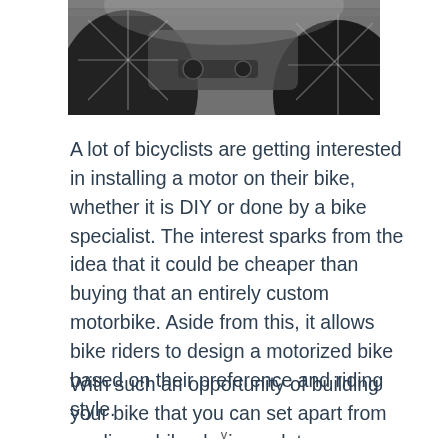[Figure (photo): Close-up photograph of bicycle wheels, frame, and drivetrain components viewed from below, showing spokes, tires, and mechanical parts against a brick wall background.]
A lot of bicyclists are getting interested in installing a motor on their bike, whether it is DIY or done by a bike specialist. The interest sparks from the idea that it could be cheaper than buying that an entirely custom motorbike. Aside from this, it allows bike riders to design a motorized bike based on their preference and riding style.
With such an opportunity of building your bike that you can set apart from mediocre bike design, a lot are
v